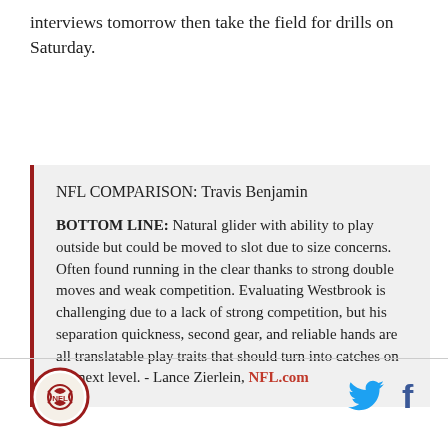interviews tomorrow then take the field for drills on Saturday.
NFL COMPARISON: Travis Benjamin

BOTTOM LINE: Natural glider with ability to play outside but could be moved to slot due to size concerns. Often found running in the clear thanks to strong double moves and weak competition. Evaluating Westbrook is challenging due to a lack of strong competition, but his separation quickness, second gear, and reliable hands are all translatable play traits that should turn into catches on the next level. - Lance Zierlein, NFL.com
[Figure (logo): Circular sports team logo with red border and team emblem inside]
[Figure (logo): Twitter bird icon in blue]
[Figure (logo): Facebook f icon in dark blue]